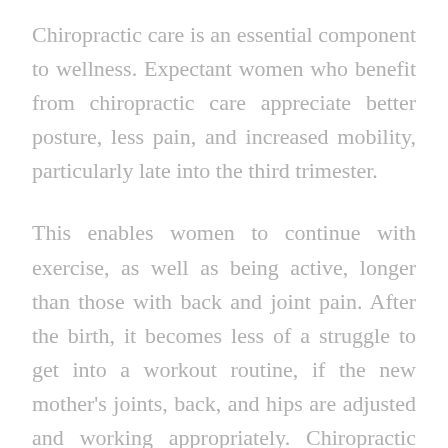Chiropractic care is an essential component to wellness. Expectant women who benefit from chiropractic care appreciate better posture, less pain, and increased mobility, particularly late into the third trimester.
This enables women to continue with exercise, as well as being active, longer than those with back and joint pain. After the birth, it becomes less of a struggle to get into a workout routine, if the new mother's joints, back, and hips are adjusted and working appropriately. Chiropractic care can serve to diminish